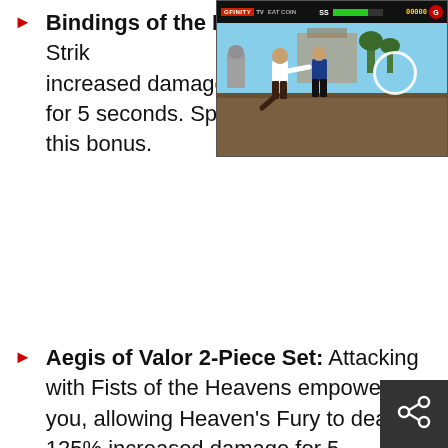Bindings of the Less... by your Cyclone Strik... increased damage fro... for 5 seconds. Split F... this bonus.
[Figure (screenshot): A fighting video game screenshot showing two characters fighting in an arena with a HUD bar at the top showing health bars and score.]
Aegis of Valor 2-Piece Set: Attacking with Fists of the Heavens empowers you, allowing Heaven's Fury to deal 125% increased damage for 5 seconds. Stacks up to 3 times.
Masquerade of the Burning Carnival 6-Piece Set: Bone Spear cast by you and your Simulacrums deals 6000% increased